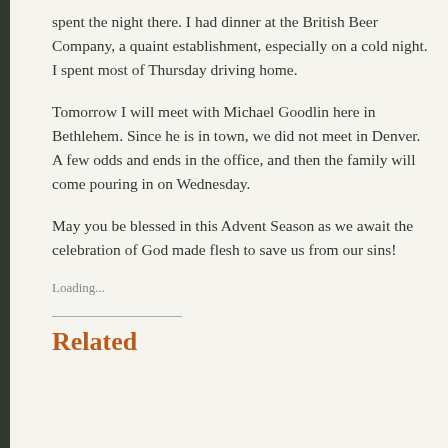spent the night there. I had dinner at the British Beer Company, a quaint establishment, especially on a cold night. I spent most of Thursday driving home.
Tomorrow I will meet with Michael Goodlin here in Bethlehem. Since he is in town, we did not meet in Denver. A few odds and ends in the office, and then the family will come pouring in on Wednesday.
May you be blessed in this Advent Season as we await the celebration of God made flesh to save us from our sins!
Loading...
Related